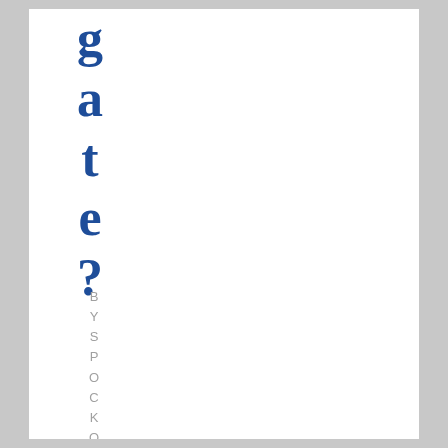gate?
BY SPOCKO . ON JULY 12 T